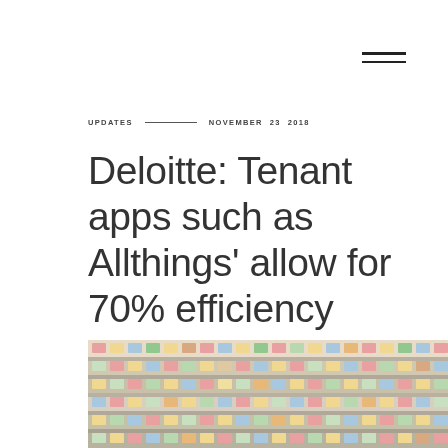≡ (menu icon)
UPDATES — NOVEMBER 23 2018
Deloitte: Tenant apps such as Allthings' allow for 70% efficiency gains
[Figure (photo): Colorful multi-story residential apartment building facade with many windows and air conditioning units]